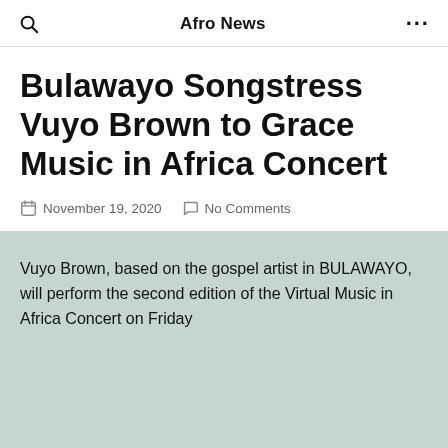Afro News
Bulawayo Songstress Vuyo Brown to Grace Music in Africa Concert
November 19, 2020   No Comments
Vuyo Brown, based on the gospel artist in BULAWAYO, will perform the second edition of the Virtual Music in Africa Concert on Friday